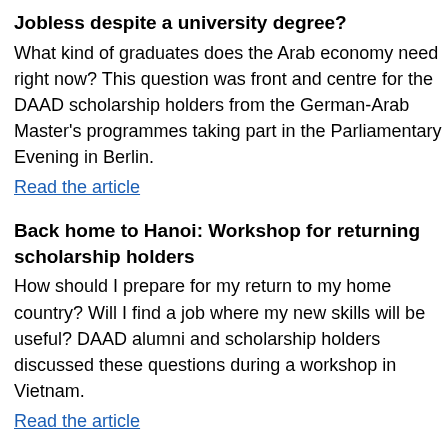Jobless despite a university degree?
What kind of graduates does the Arab economy need right now? This question was front and centre for the DAAD scholarship holders from the German-Arab Master's programmes taking part in the Parliamentary Evening in Berlin.
Read the article
Back home to Hanoi: Workshop for returning scholarship holders
How should I prepare for my return to my home country? Will I find a job where my new skills will be useful? DAAD alumni and scholarship holders discussed these questions during a workshop in Vietnam.
Read the article
Challenge: Returning to the working world
Studying abroad expands knowledge, fosters intercultural understanding and builds character.  Reintegrating into the working world is one of the biggest challenges of the return home.